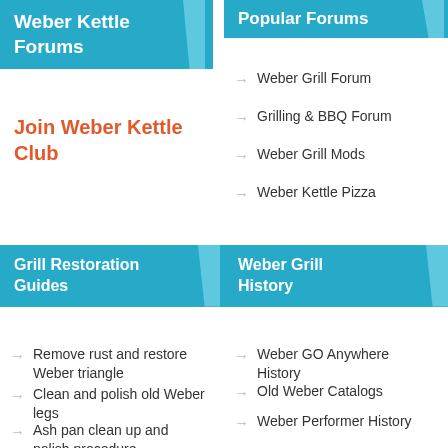Weber Kettle Forums
Join Weber Kettle Club
Popular Forums
Weber Grill Forum
Grilling & BBQ Forum
Weber Grill Mods
Weber Kettle Pizza
Grill Restoration Guides
Weber Grill History
Remove rust and restore Weber triangle
Clean and polish old Weber legs
Ash pan clean up and polish procedure
Cleaning the Interior
Weber GO Anywhere History
Old Weber Catalogs
Weber Performer History
Weber MasterTouch History